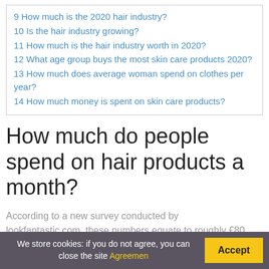9 How much is the 2020 hair industry?
10 Is the hair industry growing?
11 How much is the hair industry worth in 2020?
12 What age group buys the most skin care products 2020?
13 How much does average woman spend on clothes per year?
14 How much money is spent on skin care products?
How much do people spend on hair products a month?
According to a new survey conducted by lookfantastic.com, these numbers equate to roughly £80
We store cookies: if you do not agree, you can close the site Agreemen